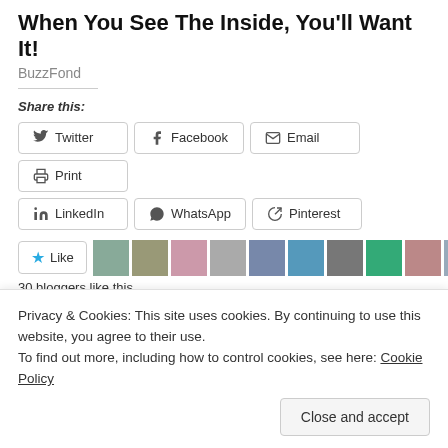When You See The Inside, You'll Want It!
BuzzFond
Share this:
Twitter | Facebook | Email | Print | LinkedIn | WhatsApp | Pinterest
[Figure (infographic): Like button with star icon, followed by avatar thumbnails of 10 bloggers]
30 bloggers like this.
Related
[Figure (photo): Two related article thumbnail images]
Privacy & Cookies: This site uses cookies. By continuing to use this website, you agree to their use.
To find out more, including how to control cookies, see here: Cookie Policy
Close and accept